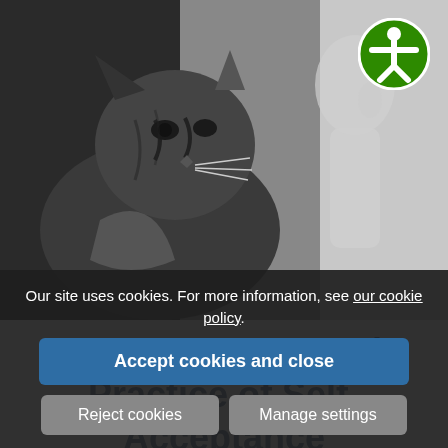[Figure (photo): Black and white photograph of a tabby cat in profile looking to the right, with a shadow/silhouette of a person visible on the right side of the image.]
Nature, Power and Practice of Self-Acceptance
Our site uses cookies. For more information, see our cookie policy.
Accept cookies and close
Reject cookies
Manage settings